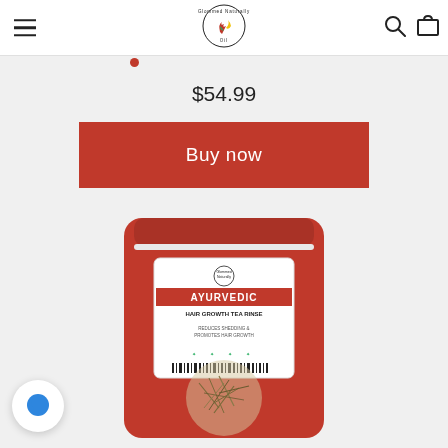Glommed Naturally Oil – navigation header with hamburger menu, logo, search and cart icons
$54.99
Buy now
[Figure (photo): Red resealable pouch of Ayurvedic Hair Growth Tea Rinse product with label showing brand logo, 'AYURVEDIC HAIR GROWTH TEA RINSE', 'REDUCES SHEDDING & PROMOTES HAIR GROWTH', barcode, and a circular clear window showing dried herbs inside.]